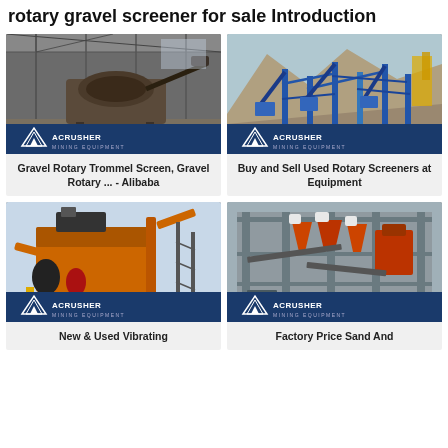rotary gravel screener for sale Introduction
[Figure (photo): Industrial gravel rotary trommel screen inside a warehouse/shed, ACRUSHER Mining Equipment logo overlay]
Gravel Rotary Trommel Screen, Gravel Rotary ... - Alibaba
[Figure (photo): Outdoor quarry/mining site with blue heavy equipment and conveyor structures, ACRUSHER Mining Equipment logo overlay]
Buy and Sell Used Rotary Screeners at Equipment
[Figure (photo): Large orange-brown industrial crushing/screening machine on site, ACRUSHER Mining Equipment logo overlay]
New & Used Vibrating
[Figure (photo): Industrial sand screening factory equipment with cone crushers and conveyor structure, ACRUSHER Mining Equipment logo overlay]
Factory Price Sand And